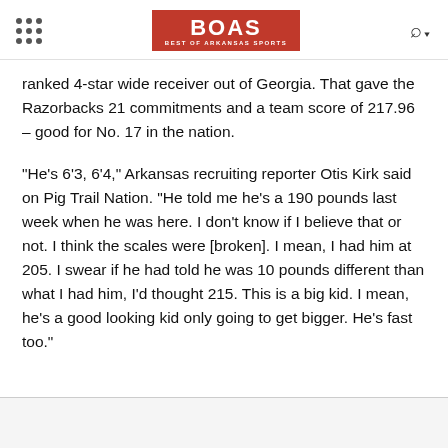BOAS BEST OF ARKANSAS SPORTS
ranked 4-star wide receiver out of Georgia. That gave the Razorbacks 21 commitments and a team score of 217.96 – good for No. 17 in the nation.
"He's 6'3, 6'4," Arkansas recruiting reporter Otis Kirk said on Pig Trail Nation. "He told me he's a 190 pounds last week when he was here. I don't know if I believe that or not. I think the scales were [broken]. I mean, I had him at 205. I swear if he had told he was 10 pounds different than what I had him, I'd thought 215. This is a big kid. I mean, he's a good looking kid only going to get bigger. He's fast too."